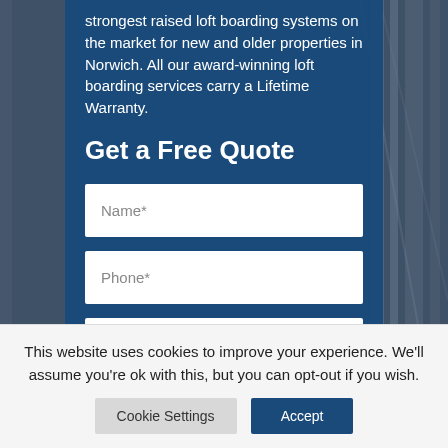strongest raised loft boarding systems on the market for new and older properties in Norwich. All our award-winning loft boarding services carry a Lifetime Warranty.
Get a Free Quote
[Figure (screenshot): Web form with three input fields: Name*, Phone*, Email* on a dark blue background panel with a simulated loft/attic photo background]
This website uses cookies to improve your experience. We'll assume you're ok with this, but you can opt-out if you wish.